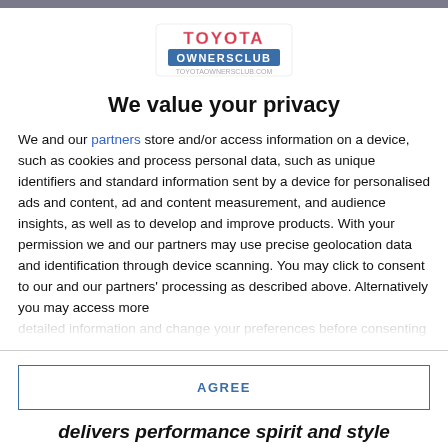[Figure (logo): Toyota Owners Club logo with red and pink text on white background, with website URL below]
We value your privacy
We and our partners store and/or access information on a device, such as cookies and process personal data, such as unique identifiers and standard information sent by a device for personalised ads and content, ad and content measurement, and audience insights, as well as to develop and improve products. With your permission we and our partners may use precise geolocation data and identification through device scanning. You may click to consent to our and our partners' processing as described above. Alternatively you may access more detailed information and change your preferences before consenting
AGREE
MORE OPTIONS
delivers performance spirit and style